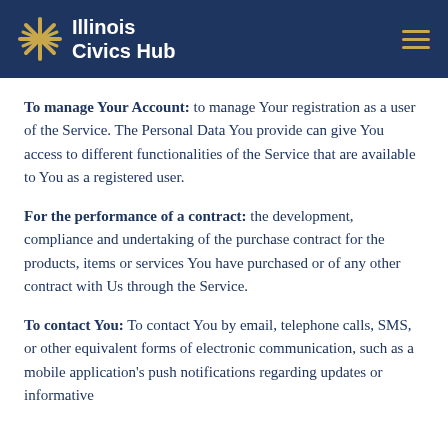Illinois Civics Hub
To manage Your Account: to manage Your registration as a user of the Service. The Personal Data You provide can give You access to different functionalities of the Service that are available to You as a registered user.
For the performance of a contract: the development, compliance and undertaking of the purchase contract for the products, items or services You have purchased or of any other contract with Us through the Service.
To contact You: To contact You by email, telephone calls, SMS, or other equivalent forms of electronic communication, such as a mobile application's push notifications regarding updates or informative